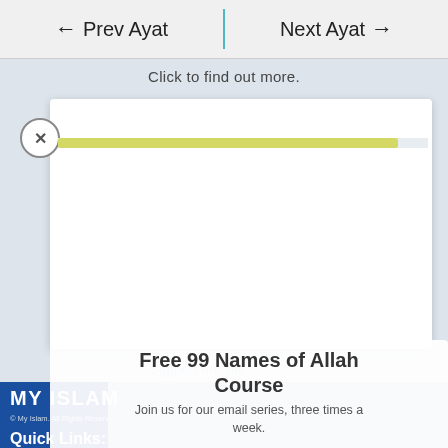← Prev Ayat   Next Ayat →
Click to find out more.
[Figure (screenshot): White card UI element with X close button and yellow progress bar indicating loading/completion status]
MY ISLAM
© My Islam. All Rights Reserved.
Support the site
Free 99 Names of Allah Course
Join us for our email series, three times a week.
Quick Links: